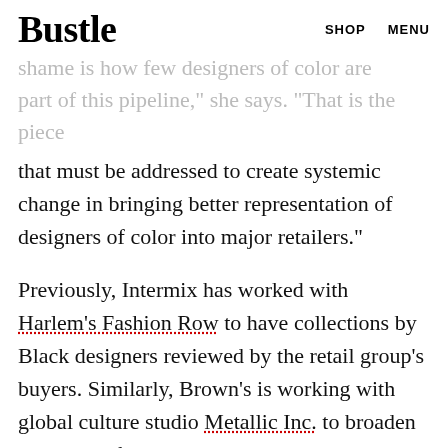Bustle   SHOP   MENU
...shame is how few designers of color are part of this pipeline,” she says. “That is the piece that must be addressed to create systemic change in bringing better representation of designers of color into major retailers.”
Previously, Intermix has worked with Harlem’s Fashion Row to have collections by Black designers reviewed by the retail group’s buyers. Similarly, Brown’s is working with global culture studio Metallic Inc. to broaden the reach of Nigerian labels through the studio’s Homecoming platform. Though details have yet to be announced, Koza says FWRD is working on a mentorship program for emerging